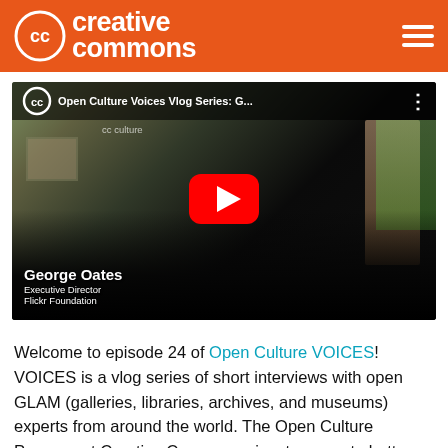Creative Commons
[Figure (screenshot): YouTube video embed showing 'Open Culture Voices Vlog Series: G...' with George Oates, Executive Director, Flickr Foundation. Red play button centered on thumbnail.]
Welcome to episode 24 of Open Culture VOICES! VOICES is a vlog series of short interviews with open GLAM (galleries, libraries, archives, and museums) experts from around the world. The Open Culture Program at Creative Commons aims to promote better sharing of cultural heritage in GLAMs